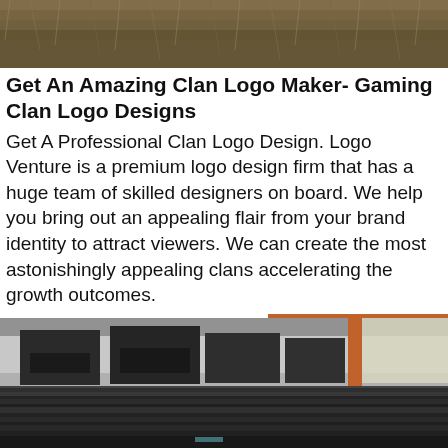[Figure (photo): Outdoor photo showing dry grass/brush background, muted earthy tones at top of page]
Get An Amazing Clan Logo Maker- Gaming Clan Logo Designs
Get A Professional Clan Logo Design. Logo Venture is a premium logo design firm that has a huge team of skilled designers on board. We help you bring out an appealing flair from your brand identity to attract viewers. We can create the most astonishingly appealing clans accelerating the growth outcomes.
[Figure (other): Brown/orange button with white bold text reading INQUIRY »]
[Figure (photo): Industrial warehouse interior photo showing heavy machinery, steel beams and metal plates stacked in foreground, orange support column visible]